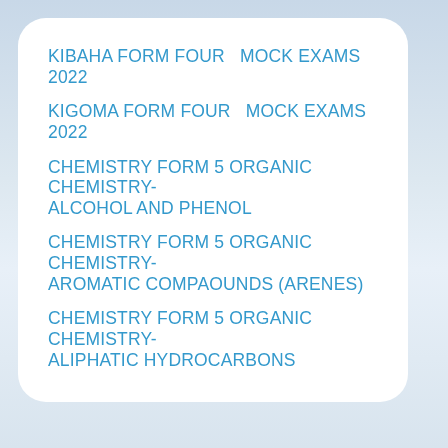KIBAHA FORM FOUR  MOCK EXAMS 2022
KIGOMA FORM FOUR  MOCK EXAMS 2022
CHEMISTRY FORM 5 ORGANIC CHEMISTRY- ALCOHOL AND PHENOL
CHEMISTRY FORM 5 ORGANIC CHEMISTRY- AROMATIC COMPAOUNDS (ARENES)
CHEMISTRY FORM 5 ORGANIC CHEMISTRY- ALIPHATIC HYDROCARBONS